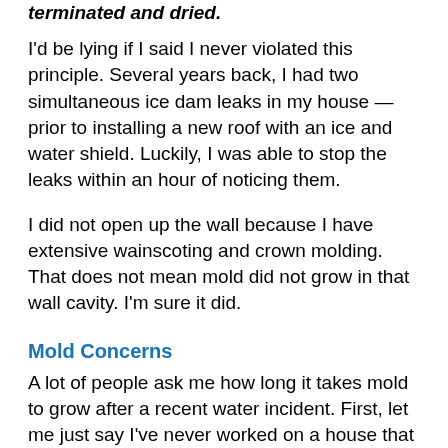terminated and dried.
I'd be lying if I said I never violated this principle. Several years back, I had two simultaneous ice dam leaks in my house — prior to installing a new roof with an ice and water shield. Luckily, I was able to stop the leaks within an hour of noticing them.
I did not open up the wall because I have extensive wainscoting and crown molding. That does not mean mold did not grow in that wall cavity. I'm sure it did.
Mold Concerns
A lot of people ask me how long it takes mold to grow after a recent water incident. First, let me just say I've never worked on a house that didn't have mold somewhere. Mold is a microorganism that's found everywhere. It